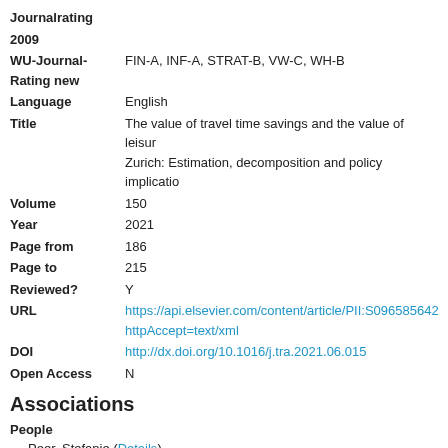Journalrating
2009
WU-Journal-Rating new: FIN-A, INF-A, STRAT-B, VW-C, WH-B
Language: English
Title: The value of travel time savings and the value of leisure in Zurich: Estimation, decomposition and policy implications
Volume: 150
Year: 2021
Page from: 186
Page to: 215
Reviewed?: Y
URL: https://api.elsevier.com/content/article/PII:S096585642... httpAccept=text/xml
DOI: http://dx.doi.org/10.1016/j.tra.2021.06.015
Open Access: N
Associations
People
Peer, Stefanie (Details)
Jokubauskaite, Simona (Details)